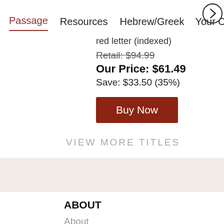Passage   Resources   Hebrew/Greek   Your Cont →
red letter (indexed)
Retail: $94.99
Our Price: $61.49
Save: $33.50 (35%)
Buy Now
VIEW MORE TITLES
ABOUT
About